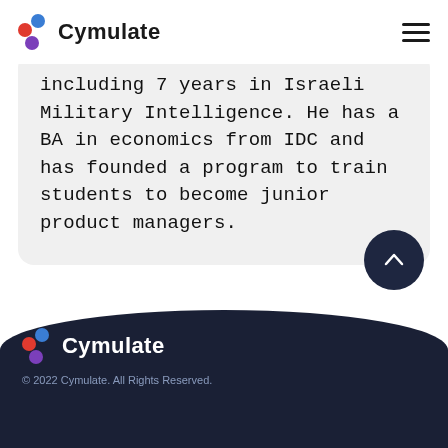Cymulate
including 7 years in Israeli Military Intelligence. He has a BA in economics from IDC and has founded a program to train students to become junior product managers.
[Figure (other): Scroll-to-top circular button with upward chevron arrow on dark navy background]
Cymulate © 2022 Cymulate. All Rights Reserved.